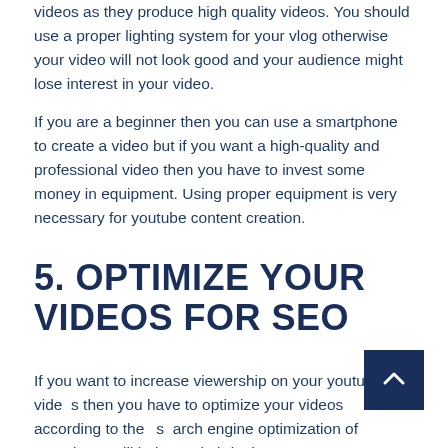videos as they produce high quality videos. You should use a proper lighting system for your vlog otherwise your video will not look good and your audience might lose interest in your video.
If you are a beginner then you can use a smartphone to create a video but if you want a high-quality and professional video then you have to invest some money in equipment. Using proper equipment is very necessary for youtube content creation.
5. OPTIMIZE YOUR VIDEOS FOR SEO
If you want to increase viewership on your youtube videos then you have to optimize your videos according to the search engine optimization of Youtube. It will help you in bringing